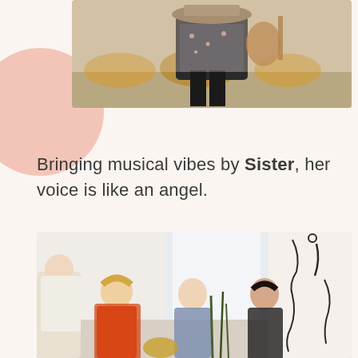[Figure (photo): A person sitting with round velvet cushions behind them, wearing a floral dress and black tights, partially cropped at top]
Bringing musical vibes by Sister, her voice is like an angel.
[Figure (photo): A group of five women sitting in a circle on the floor in a bright modern room, with abstract line art figures on the wall behind them]